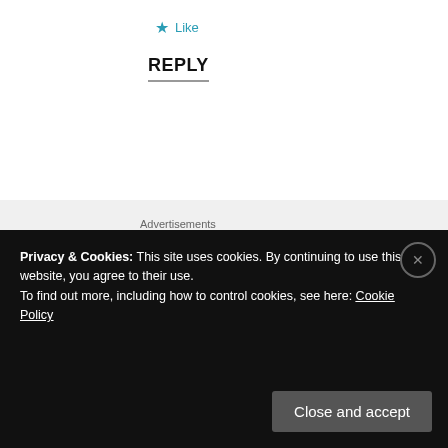★ Like
REPLY
Advertisements
[Figure (other): P2 advertisement: Getting your team on the same page is easy. And free.]
REPORT THIS AD
Arama says: July 28, 2020 at 8:39 am
Privacy & Cookies: This site uses cookies. By continuing to use this website, you agree to their use.
To find out more, including how to control cookies, see here: Cookie Policy
Close and accept